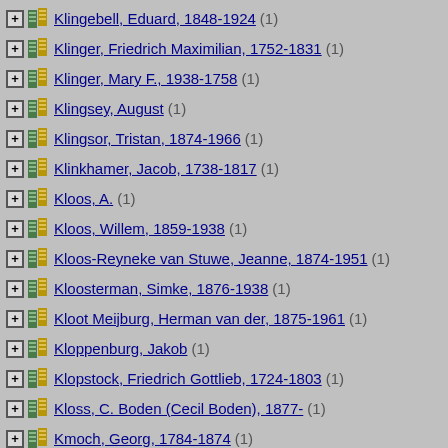Klingebell, Eduard, 1848-1924 (1)
Klinger, Friedrich Maximilian, 1752-1831 (1)
Klinger, Mary F., 1938-1758 (1)
Klingsey, August (1)
Klingsor, Tristan, 1874-1966 (1)
Klinkhamer, Jacob, 1738-1817 (1)
Kloos, A. (1)
Kloos, Willem, 1859-1938 (1)
Kloos-Reyneke van Stuwe, Jeanne, 1874-1951 (1)
Kloosterman, Simke, 1876-1938 (1)
Kloot Meijburg, Herman van der, 1875-1961 (1)
Kloppenburg, Jakob (1)
Klopstock, Friedrich Gottlieb, 1724-1803 (1)
Kloss, C. Boden (Cecil Boden), 1877- (1)
Kmoch, Georg, 1784-1874 (1)
Knackfuss, H. (Hermann), 1848-1915 (13)
Knapp, Adeline, 1860-1909 (3)
Knapp, Arthur William (1)